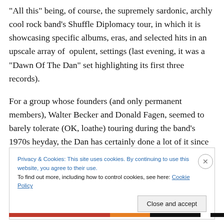"All this" being, of course, the supremely sardonic, archly cool rock band's Shuffle Diplomacy tour, in which it is showcasing specific albums, eras, and selected hits in an upscale array of  opulent, settings (last evening, it was a "Dawn Of The Dan" set highlighting its first three records).

For a group whose founders (and only permanent members), Walter Becker and Donald Fagen, seemed to barely tolerate (OK, loathe) touring during the band's 1970s heyday, the Dan has certainly done a lot of it since the pair revived their...
Privacy & Cookies: This site uses cookies. By continuing to use this website, you agree to their use.
To find out more, including how to control cookies, see here: Cookie Policy
Close and accept